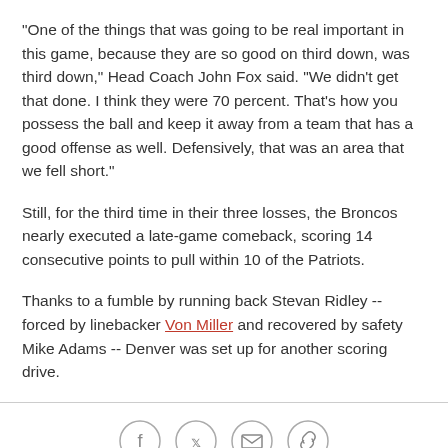"One of the things that was going to be real important in this game, because they are so good on third down, was third down," Head Coach John Fox said. "We didn't get that done. I think they were 70 percent. That's how you possess the ball and keep it away from a team that has a good offense as well. Defensively, that was an area that we fell short."
Still, for the third time in their three losses, the Broncos nearly executed a late-game comeback, scoring 14 consecutive points to pull within 10 of the Patriots.
Thanks to a fumble by running back Stevan Ridley -- forced by linebacker Von Miller and recovered by safety Mike Adams -- Denver was set up for another scoring drive.
[Figure (other): Social sharing icons: Facebook, Twitter, Email, Link]